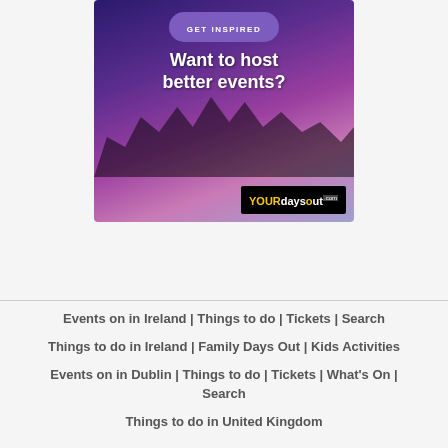[Figure (illustration): Advertisement banner for YourDaysOut.com showing silhouettes of people at an event with colourful purple/blue/pink lighting. Contains 'GET INSPIRED' pill button, headline 'Want to host better events?' and the YourDaysOut.com logo.]
Events on in Ireland | Things to do | Tickets | Search
Things to do in Ireland | Family Days Out | Kids Activities
Events on in Dublin | Things to do | Tickets | What's On | Search
Things to do in United Kingdom